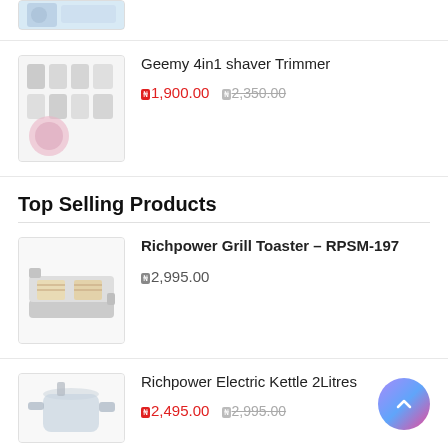[Figure (photo): Partial product image cut off at top of page]
Geemy 4in1 shaver Trimmer - ₦1,900.00 ₦2,350.00
Top Selling Products
Richpower Grill Toaster – RPSM-197 - ₦2,995.00
Richpower Electric Kettle 2Litres - ₦2,495.00 ₦2,995.00